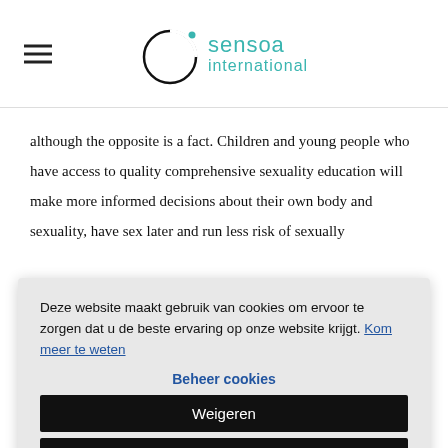sensoa international
although the opposite is a fact. Children and young people who have access to quality comprehensive sexuality education will make more informed decisions about their own body and sexuality, have sex later and run less risk of sexually
Deze website maakt gebruik van cookies om ervoor te zorgen dat u de beste ervaring op onze website krijgt. Kom meer te weten
Beheer cookies
Weigeren
Alles toestaan
×
guest speakers.